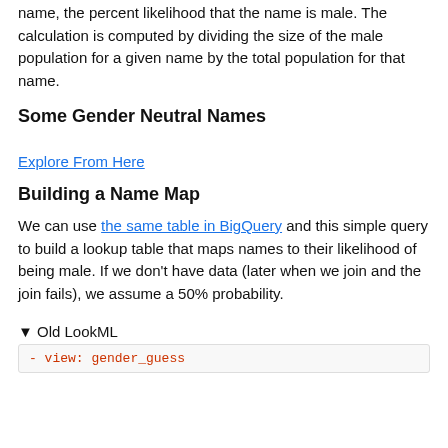name, the percent likelihood that the name is male. The calculation is computed by dividing the size of the male population for a given name by the total population for that name.
Some Gender Neutral Names
Explore From Here
Building a Name Map
We can use the same table in BigQuery and this simple query to build a lookup table that maps names to their likelihood of being male. If we don't have data (later when we join and the join fails), we assume a 50% probability.
▼ Old LookML
- view: gender_guess